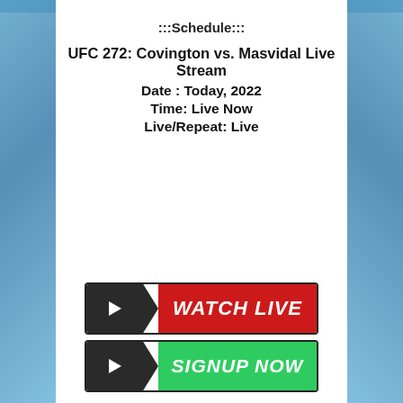:::Schedule:::
UFC 272: Covington vs. Masvidal Live Stream
Date : Today, 2022
Time: Live Now
Live/Repeat: Live
[Figure (illustration): Red button with play icon and text WATCH LIVE]
[Figure (illustration): Green button with play icon and text SIGNUP NOW]